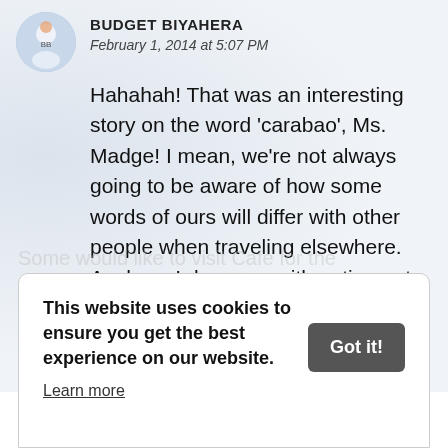BUDGET BIYAHERA
February 1, 2014 at 5:07 PM
Hahahah! That was an interesting story on the word 'carabao', Ms. Madge! I mean, we're not always going to be aware of how some words of ours will differ with other people when traveling elsewhere. Anyhow, I do agree with eating out with family (of with friends). Dining out won't actually be complete without a little bonding. :)
This website uses cookies to ensure you get the best experience on our website. Learn more